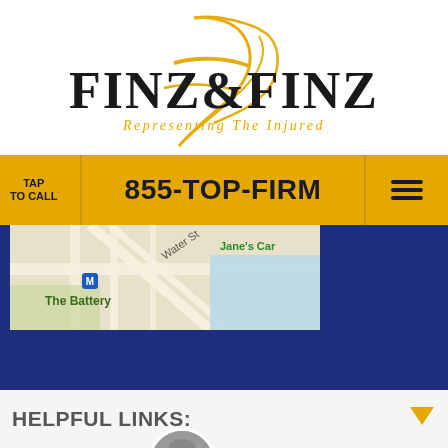[Figure (logo): Finz & Finz law firm logo with gold script F overlay, dark serif text reading FINZ & FINZ and subtitle Representing The Injured]
TAP TO CALL
855-TOP-FIRM
[Figure (screenshot): Google Maps screenshot showing The Battery area with Water St, Jane's Car label, and M metro marker]
HELPFUL LINKS:
[Figure (photo): Circular avatar photo of a man wearing sunglasses]
LIVE CHAT
TEXT US